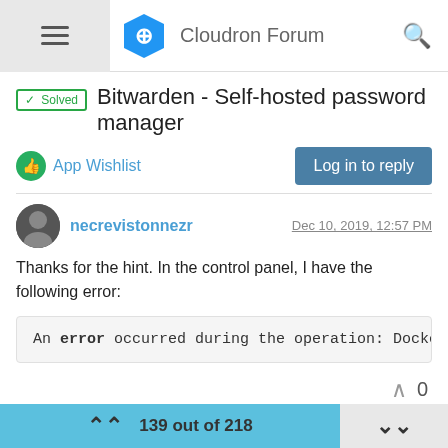Cloudron Forum
Bitwarden - Self-hosted password manager
App Wishlist
Log in to reply
necrevistonnezr · Dec 10, 2019, 12:57 PM
Thanks for the hint. In the control panel, I have the following error:
An error occurred during the operation: Docker Erro
necrevistonnezr · Dec 10, 2019, 1:07 PM
139 out of 218